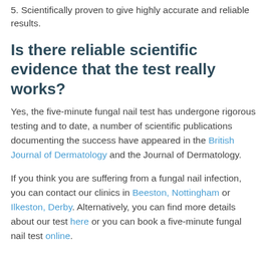5. Scientifically proven to give highly accurate and reliable results.
Is there reliable scientific evidence that the test really works?
Yes, the five-minute fungal nail test has undergone rigorous testing and to date, a number of scientific publications documenting the success have appeared in the British Journal of Dermatology and the Journal of Dermatology.
If you think you are suffering from a fungal nail infection, you can contact our clinics in Beeston, Nottingham or Ilkeston, Derby. Alternatively, you can find more details about our test here or you can book a five-minute fungal nail test online.